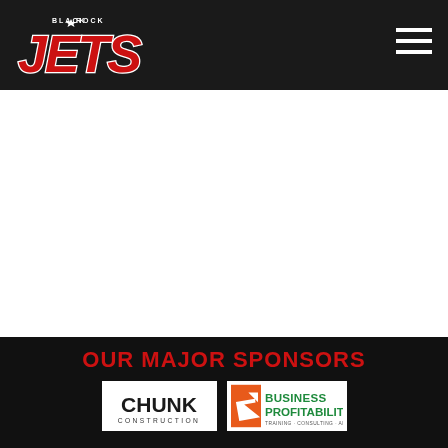Black Rock Jets - navigation header with logo and hamburger menu
[Figure (logo): Black Rock Jets logo: red italic JETS text with Black Rock text above, white star, on dark background]
[Figure (infographic): Hamburger menu icon (three white horizontal lines) in top right of dark header]
OUR MAJOR SPONSORS
[Figure (logo): CHUNK CONSTRUCTION logo: black bold CHUNK text with CONSTRUCTION below in small caps]
[Figure (logo): Business Profitability logo: orange arrow icon with BUSINESS PROFITABILITY text in green]